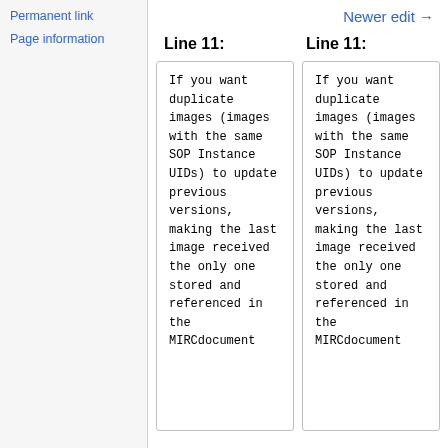Permanent link
Page information
Newer edit →
Line 11:
Line 11:
If you want duplicate images (images with the same SOP Instance UIDs) to update previous versions, making the last image received the only one stored and referenced in the MIRCdocument
If you want duplicate images (images with the same SOP Instance UIDs) to update previous versions, making the last image received the only one stored and referenced in the MIRCdocument